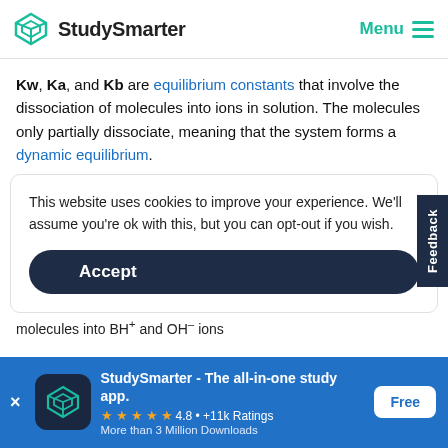StudySmarter | Menu
Kw, Ka, and Kb are equilibrium constants that involve the dissociation of molecules into ions in solution. The molecules only partially dissociate, meaning that the system forms a dynamic equilibrium.
This website uses cookies to improve your experience. We'll assume you're ok with this, but you can opt-out if you wish.
Accept
molecules into BH⁺ and OH⁻ ions
StudySmarter - The all-in-one study app. ★★★★★ 4.8 • +11k Ratings More than 3 Million Downloads Free